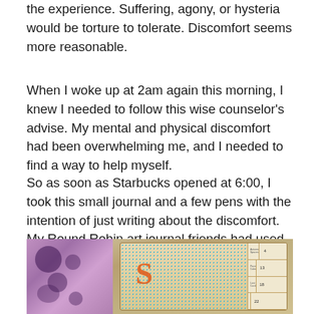the experience. Suffering, agony, or hysteria would be torture to tolerate. Discomfort seems more reasonable.
When I woke up at 2am again this morning, I knew I needed to follow this wise counselor's advise. My mental and physical discomfort had been overwhelming me, and I needed to find a way to help myself.
So as soon as Starbucks opened at 6:00, I took this small journal and a few pens with the intention of just writing about the discomfort. My Round Robin art journal friends had used this size journal in our last project to send pages to each other. It contained their art, but I didn't have to make anything. This felt important.
[Figure (photo): A photograph showing colorful art journals and pages. On the left is a purple/pink page with dark circular blob patterns. On the right is a decorated journal cover with turquoise dot patterns and orange lettering, with a grid/table panel on the right side of the journal.]